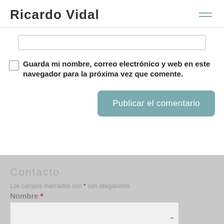Ricardo Vidal
Guarda mi nombre, correo electrónico y web en este navegador para la próxima vez que comente.
Publicar el comentario
Contacto
Los campos marcados con * son obligatorios
Nombre *